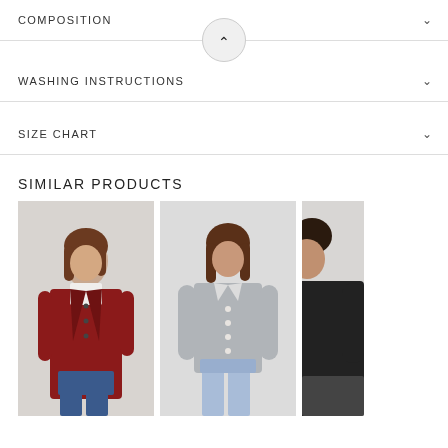COMPOSITION
WASHING INSTRUCTIONS
SIZE CHART
SIMILAR PRODUCTS
[Figure (photo): Woman wearing a dark red knit coat over a white turtleneck and jeans]
[Figure (photo): Woman wearing a grey button-up cardigan and light blue jeans]
[Figure (photo): Woman wearing a dark top, partially visible on right edge]